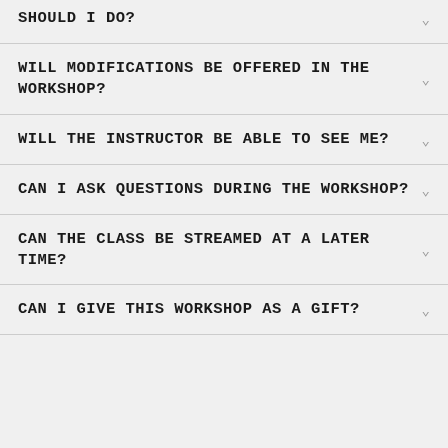SHOULD I DO?
WILL MODIFICATIONS BE OFFERED IN THE WORKSHOP?
WILL THE INSTRUCTOR BE ABLE TO SEE ME?
CAN I ASK QUESTIONS DURING THE WORKSHOP?
CAN THE CLASS BE STREAMED AT A LATER TIME?
CAN I GIVE THIS WORKSHOP AS A GIFT?